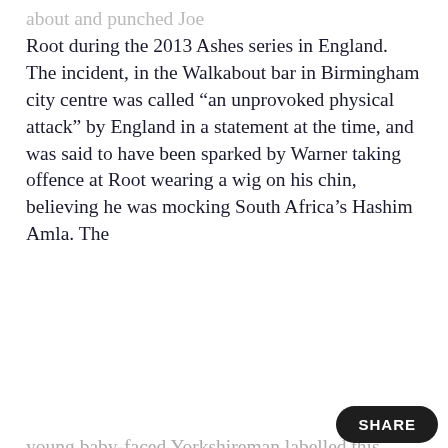Root during the 2013 Ashes series in England. The incident, in the Walkabout bar in Birmingham city centre was called “an unprovoked physical attack” by England in a statement at the time, and was said to have been sparked by Warner taking offence at Root wearing a wig on his chin, believing he was mocking South Africa’s Hashim Amla. The young baby-faced Yorkshireman labelled this explanation as “shabby” and wanted to bury the hatchet by inviting Warner to...
[Figure (screenshot): Cookie consent overlay dialog on a dark background, with text: 'We use cookies to help our site work, to understand how it is used. By clicking "I Agree" below, you agree to us doing so. You can read more in our cookie notice. Or, if you do not agree, you can click "Privacy Preferences" below to access other choices.' with a close X button, Privacy Preferences link, and I Agree button.]
Adam Law @adamlaw · Follow
One of the biggest mysteries of #Ashes history is why Dave Warner would punch Joe Root when Stuart Broad was sh...